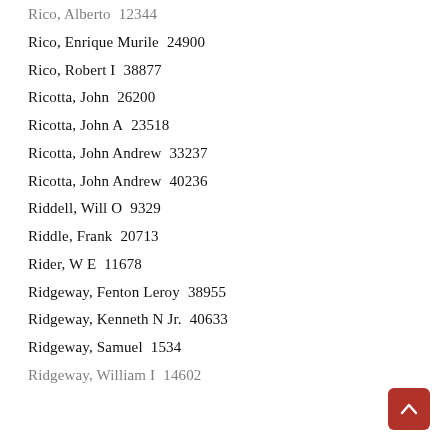Rico, Alberto   12344
Rico, Enrique Murile   24900
Rico, Robert I   38877
Ricotta, John   26200
Ricotta, John A   23518
Ricotta, John Andrew   33237
Ricotta, John Andrew   40236
Riddell, Will O   9329
Riddle, Frank   20713
Rider, W E   11678
Ridgeway, Fenton Leroy   38955
Ridgeway, Kenneth N Jr.   40633
Ridgeway, Samuel   1534
Ridgeway, William I   14602